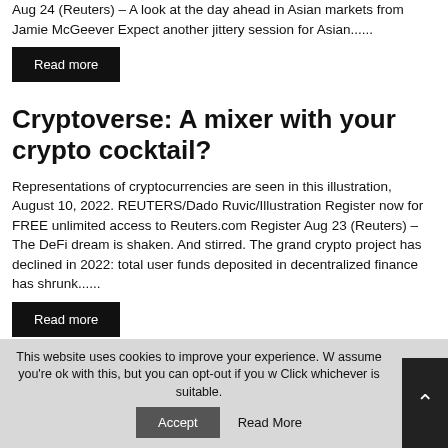Aug 24 (Reuters) – A look at the day ahead in Asian markets from Jamie McGeever Expect another jittery session for Asian......
Read more
Cryptoverse: A mixer with your crypto cocktail?
Representations of cryptocurrencies are seen in this illustration, August 10, 2022. REUTERS/Dado Ruvic/Illustration Register now for FREE unlimited access to Reuters.com Register Aug 23 (Reuters) – The DeFi dream is shaken. And stirred. The grand crypto project has declined in 2022: total user funds deposited in decentralized finance has shrunk......
Read more
This website uses cookies to improve your experience. We assume you're ok with this, but you can opt-out if you wish. Click whichever is suitable.
Accept
Read More